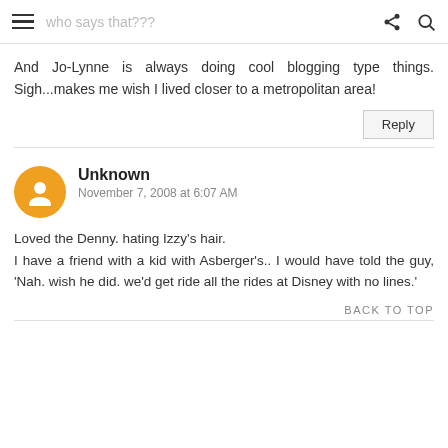who says that???
And Jo-Lynne is always doing cool blogging type things. Sigh...makes me wish I lived closer to a metropolitan area!
Reply
Unknown
November 7, 2008 at 6:07 AM
Loved the Denny. hating Izzy's hair.
I have a friend with a kid with Asberger's.. I would have told the guy, 'Nah. wish he did. we'd get ride all the rides at Disney with no lines.'
BACK TO TOP